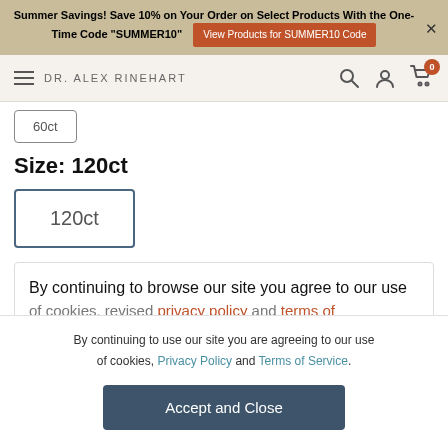Summer Savings! Save 10% on Your Order on Select Products With the One-Time Code "SUMMER10" | View Products for SUMMER10 Code
DR. ALEX RINEHART
[Figure (screenshot): Partially visible size selection box showing '60ct' or similar]
Size: 120ct
120ct
By continuing to browse our site you agree to our use of cookies, revised privacy policy and terms of
By continuing to use our site you are agreeing to our use of cookies, Privacy Policy and Terms of Service.
Accept and Close